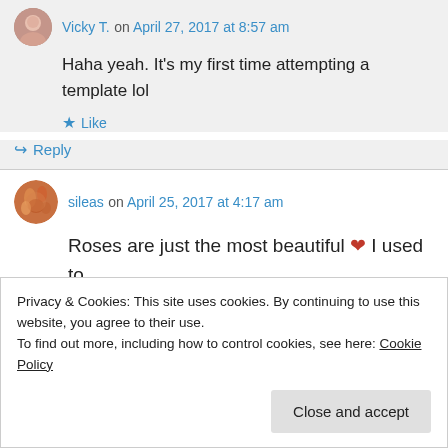Vicky T. on April 27, 2017 at 8:57 am
Haha yeah. It's my first time attempting a template lol
Like
Reply
sileas on April 25, 2017 at 4:17 am
Roses are just the most beautiful ❤ I used to make roses out of marzipan for cake decoration
Privacy & Cookies: This site uses cookies. By continuing to use this website, you agree to their use.
To find out more, including how to control cookies, see here: Cookie Policy
Close and accept